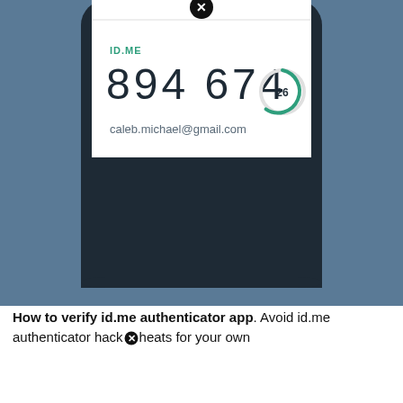[Figure (screenshot): A smartphone screen showing the ID.ME authenticator app with the code 894 674, a countdown timer showing 26 seconds, and email caleb.michael@gmail.com. The phone is shown from the front, cropped at top, on a dark blue-grey background.]
How to verify id.me authenticator app. Avoid id.me authenticator hack cheats for your own